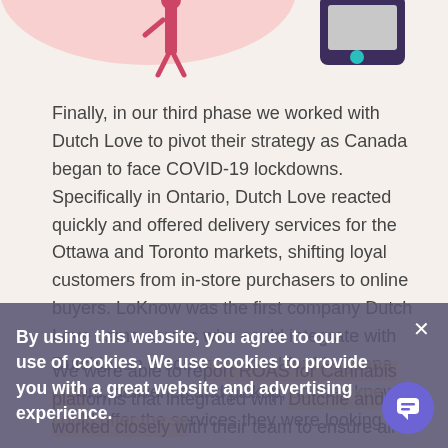[Figure (illustration): Partial illustration showing a person walking with pink background circle element on the left, and a mobile device/phone on the right, cropped at the top of the page]
Finally, in our third phase we worked with Dutch Love to pivot their strategy as Canada began to face COVID-19 lockdowns. Specifically in Ontario, Dutch Love reacted quickly and offered delivery services for the Ottawa and Toronto markets, shifting loyal customers from in-store purchasers to online buyers. LoKnow was the first company Dutch Love came across who could integrate with Dutchie, an e-commerce tool for Marijuana orders, deliveries and pickup, so they knew we could offer the services they were looking for.
We were able to report ROAS for Cannabis platforms that integrated with Dutchie and worked closely with their team to ensure all online purchases for Dutch
By using this website, you agree to our use of cookies. We use cookies to provide you with a great website and advertising experience.